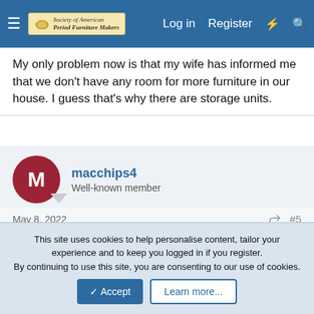Society of American Period Furniture Makers — Log in | Register
My only problem now is that my wife has informed me that we don't have any room for more furniture in our house. I guess that's why there are storage units.
macchips4
Well-known member
May 8, 2022  #5
could you add some photos?
HSteier
Well-known member
This site uses cookies to help personalise content, tailor your experience and to keep you logged in if you register.
By continuing to use this site, you are consenting to our use of cookies.